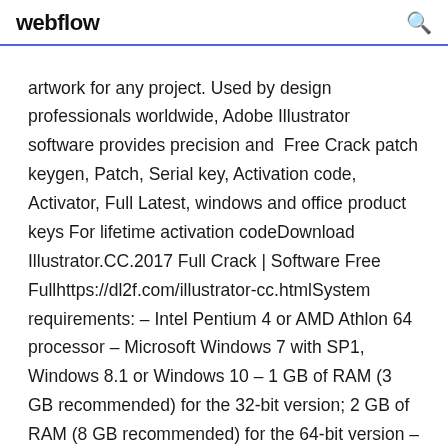webflow
artwork for any project. Used by design professionals worldwide, Adobe Illustrator software provides precision and  Free Crack patch keygen, Patch, Serial key, Activation code, Activator, Full Latest, windows and office product keys For lifetime activation codeDownload Illustrator.CC.2017 Full Crack | Software Free Fullhttps://dl2f.com/illustrator-cc.htmlSystem requirements: – Intel Pentium 4 or AMD Athlon 64 processor – Microsoft Windows 7 with SP1, Windows 8.1 or Windows 10 – 1 GB of RAM (3 GB recommended) for the 32-bit version; 2 GB of RAM (8 GB recommended) for the 64-bit version – 2...